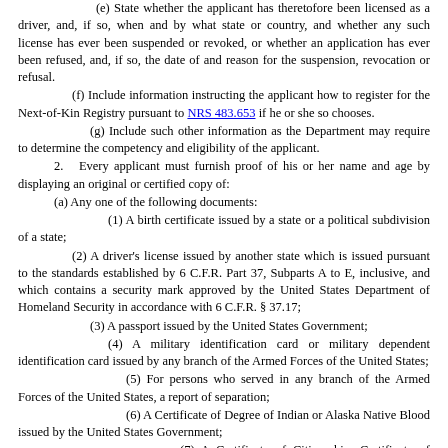(e) State whether the applicant has theretofore been licensed as a driver, and, if so, when and by what state or country, and whether any such license has ever been suspended or revoked, or whether an application has ever been refused, and, if so, the date of and reason for the suspension, revocation or refusal.
(f) Include information instructing the applicant how to register for the Next-of-Kin Registry pursuant to NRS 483.653 if he or she so chooses.
(g) Include such other information as the Department may require to determine the competency and eligibility of the applicant.
2. Every applicant must furnish proof of his or her name and age by displaying an original or certified copy of:
(a) Any one of the following documents:
(1) A birth certificate issued by a state or a political subdivision of a state;
(2) A driver's license issued by another state which is issued pursuant to the standards established by 6 C.F.R. Part 37, Subparts A to E, inclusive, and which contains a security mark approved by the United States Department of Homeland Security in accordance with 6 C.F.R. § 37.17;
(3) A passport issued by the United States Government;
(4) A military identification card or military dependent identification card issued by any branch of the Armed Forces of the United States;
(5) For persons who served in any branch of the Armed Forces of the United States, a report of separation;
(6) A Certificate of Degree of Indian or Alaska Native Blood issued by the United States Government;
(7) A Certificate of Citizenship, Certificate of Naturalization, Permanent Resident Card or Temporary Resident Card issued by the United States Citizenship and Immigration Services of the Department of Homeland Security;
(8) A Consular Report of Birth Abroad issued by the Department of State;
(9) A document issued by the Department pursuant to NRS 483.375 or 483.8605; or
(10) Such other documentation as specified by the Department by